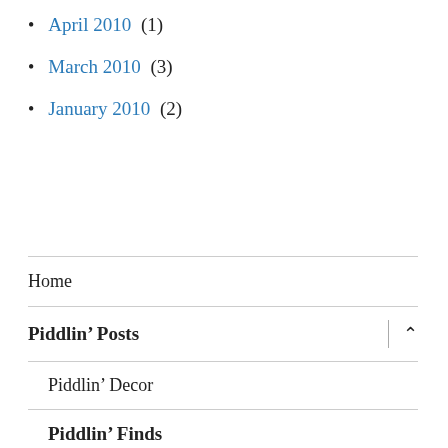April 2010 (1)
March 2010 (3)
January 2010 (2)
Home
Piddlin’ Posts
Piddlin’ Decor
Piddlin’ Finds
Piddlin’ Surcies
Piddlin’ Trips
Piddlin’ Wish List